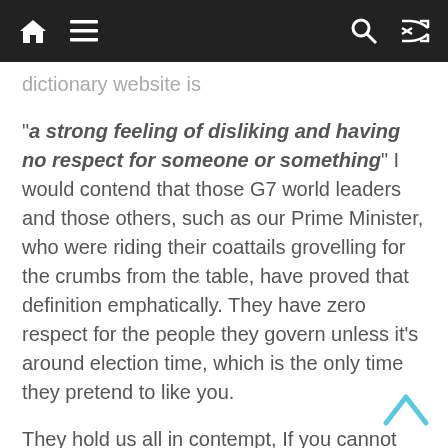Navigation bar with home, menu, search, and shuffle icons
dictionary website is “a strong feeling of disliking and having no respect for someone or something” I would contend that those G7 world leaders and those others, such as our Prime Minister, who were riding their coattails grovelling for the crumbs from the table, have proved that definition emphatically. They have zero respect for the people they govern unless it’s around election time, which is the only time they pretend to like you.
They hold us all in contempt, If you cannot see that after the past eighteen months, then your eye are simply permanently shut to it.